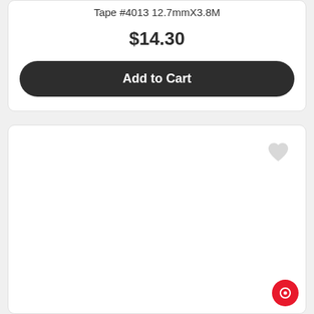Tape #4013 12.7mmX3.8M
$14.30
Add to Cart
[Figure (other): Empty product card with heart/wishlist icon in top right corner and a red circular button in the bottom right corner]